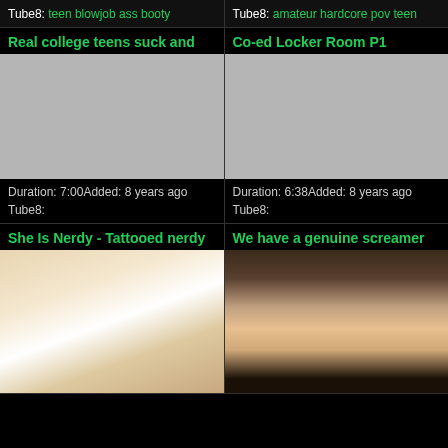Tube8: teen blowjob ass booty
Tube8: amateur hardcore pov teen
Real college teens suck and
[Figure (photo): Gray placeholder thumbnail for video]
Duration: 7:00Added: 8 years ago
Tube8:
Co-ed Locker Room P1
[Figure (photo): Gray placeholder thumbnail for video]
Duration: 6:38Added: 8 years ago
Tube8:
She Is Nerdy - Tattooed nerdy
[Figure (photo): Photo of two people on a bed, intimate scene]
We have a genuine screamer
[Figure (photo): Photo of a woman with long dark hair in a room]